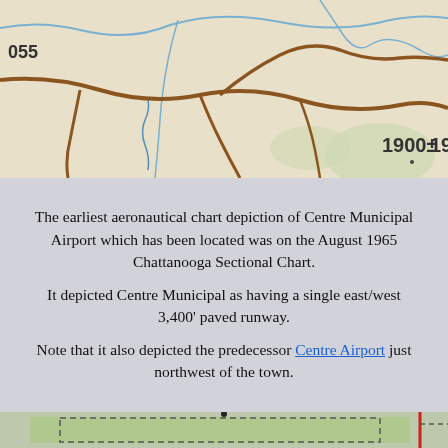[Figure (map): Aeronautical sectional chart excerpt showing the Coloma area with elevation 1900± marked. Roads shown in brown, streams in blue, on a beige/tan topographic background. Label '055' visible at top left.]
The earliest aeronautical chart depiction of Centre Municipal Airport which has been located was on the August 1965 Chattanooga Sectional Chart.
It depicted Centre Municipal as having a single east/west 3,400' paved runway.
Note that it also depicted the predecessor Centre Airport just northwest of the town.
[Figure (map): Aeronautical chart excerpt showing Centre Municipal Airport runway diagram with dashed outline rectangle, green terrain background. A black marker dot visible near top center.]